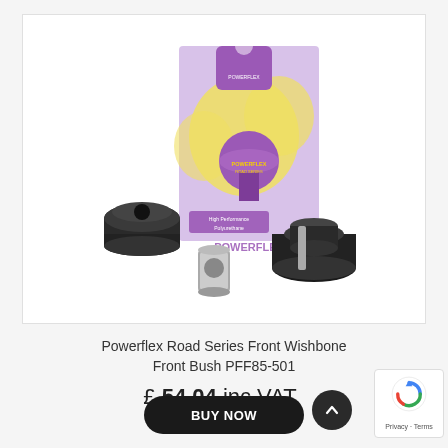[Figure (photo): Product photo of Powerflex Road Series Front Wishbone Front Bush PFF85-501. Shows two black polyurethane bushes, a silver metal sleeve, and the purple Powerflex branded packaging box in the background with yellow flower imagery.]
Powerflex Road Series Front Wishbone Front Bush PFF85-501
£ 54.04 inc VAT
BUY NOW